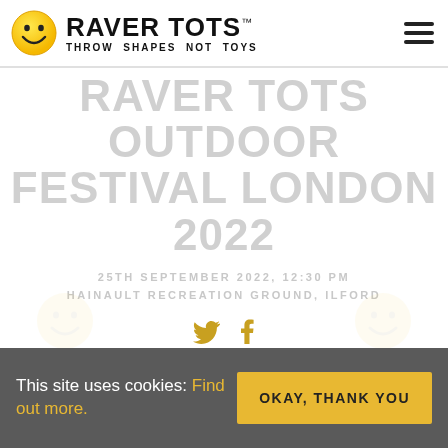[Figure (logo): Raver Tots logo: yellow smiley face icon beside bold text 'RAVER TOTS' with trademark symbol and tagline 'THROW SHAPES NOT TOYS']
RAVER TOTS OUTDOOR FESTIVAL LONDON 2022
25TH SEPTEMBER 2022, 12:30 PM
HAINAULT RECREATION GROUND, ILFORD
[Figure (illustration): Social media icons: Twitter bird and Facebook 'f' in faded yellow/gold color]
[Figure (illustration): Faded smiley face watermark illustrations at bottom of page]
This site uses cookies: Find out more.
OKAY, THANK YOU